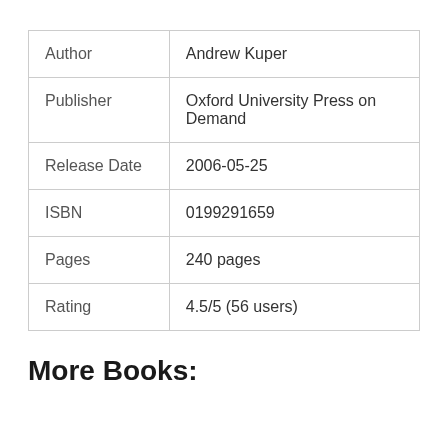| Author | Andrew Kuper |
| Publisher | Oxford University Press on Demand |
| Release Date | 2006-05-25 |
| ISBN | 0199291659 |
| Pages | 240 pages |
| Rating | 4.5/5 (56 users) |
More Books: